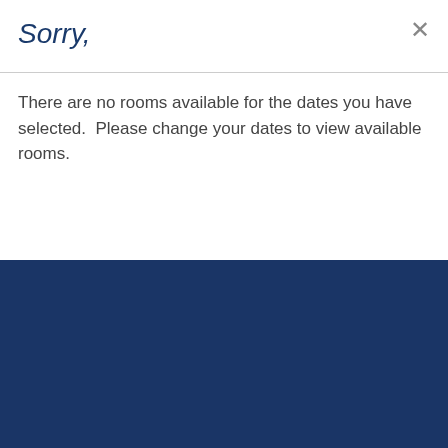Sorry,
There are no rooms available for the dates you have selected.  Please change your dates to view available rooms.
Close
This website uses cookies to enhance user experience and to analyze performance and traffic on our website. We also share information about your use of our site with our social media, advertising and analytics partners. To manage what data we share please select manage preferences.  Privacy Policy
Manage Preferences